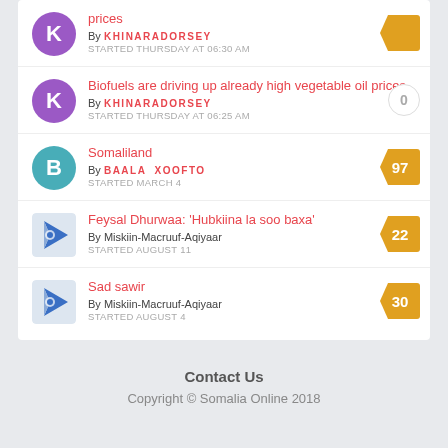prices
By KHINARADORSEY
STARTED THURSDAY AT 06:30 AM
Biofuels are driving up already high vegetable oil prices
By KHINARADORSEY
STARTED THURSDAY AT 06:25 AM
Count: 0
Somaliland
By BAALA XOOFTO
STARTED MARCH 4
Count: 97
Feysal Dhurwaa: 'Hubkiina la soo baxa'
By Miskiin-Macruuf-Aqiyaar
STARTED AUGUST 11
Count: 22
Sad sawir
By Miskiin-Macruuf-Aqiyaar
STARTED AUGUST 4
Count: 30
Contact Us
Copyright © Somalia Online 2018